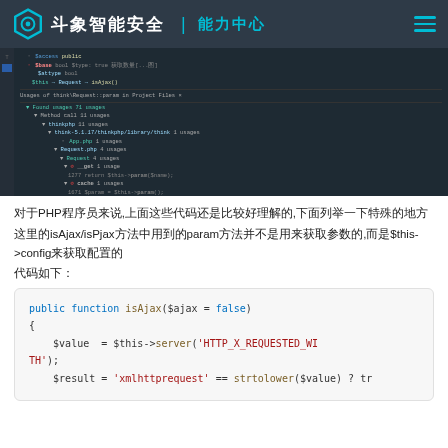斗象智能安全 | 能力中心
[Figure (screenshot): IDE screenshot showing code search results for think\Request::param in Project Files, with 71 found usages including Method call usages in thinkphp library files, showing isAjax and isPjax methods referencing param and $this->config]
对于PHP程序员来说,上面这些代码还是比较好理解的,下面列举一下特殊的地方
这里的isAjax/isPjax方法中用到的param方法并不是用来获取参数的,而是$this->config来获取配置的
代码如下：
public function isAjax($ajax = false)
{
    $value  = $this->server('HTTP_X_REQUESTED_WITH');
    $result = 'xmlhttprequest' == strtolower($value) ? tr